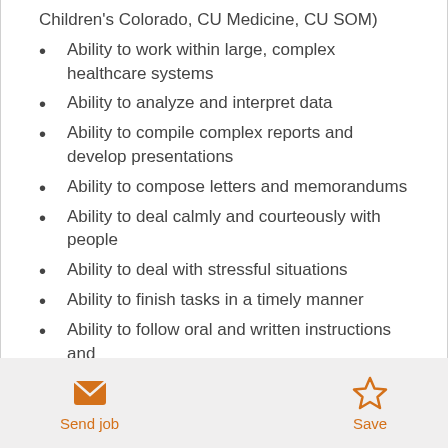Children's Colorado, CU Medicine, CU SOM)
Ability to work within large, complex healthcare systems
Ability to analyze and interpret data
Ability to compile complex reports and develop presentations
Ability to compose letters and memorandums
Ability to deal calmly and courteously with people
Ability to deal with stressful situations
Ability to finish tasks in a timely manner
Ability to follow oral and written instructions and